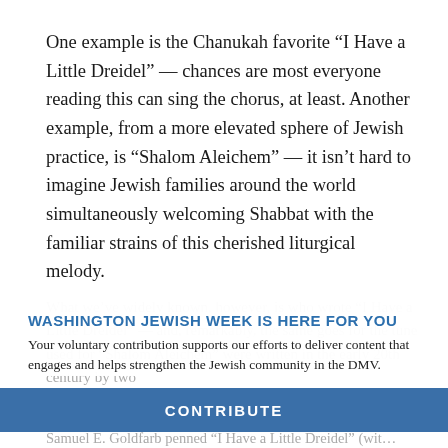One example is the Chanukah favorite “I Have a Little Dreidel” — chances are most everyone reading this can sing the chorus, at least. Another example, from a more elevated sphere of Jewish practice, is “Shalom Aleichem” — it isn’t hard to imagine Jewish families around the world simultaneously welcoming Shabbat with the familiar strains of this cherished liturgical melody.
WASHINGTON JEWISH WEEK IS HERE FOR YOU
Your voluntary contribution supports our efforts to deliver content that engages and helps strengthen the Jewish community in the DMV.
CONTRIBUTE
Samuel E. Goldfarb penned “I Have a Little Dreidel” (wit...